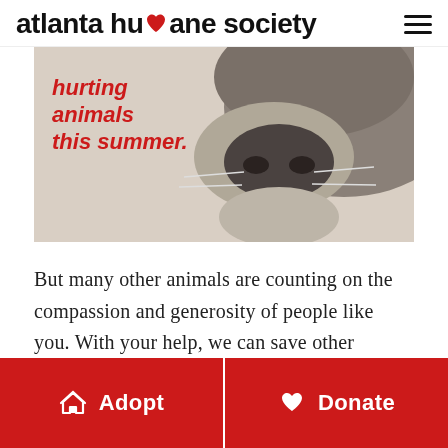atlanta humane society
[Figure (photo): Banner image showing a dog's nose close-up with overlaid red italic text reading 'hurting animals this summer.']
But many other animals are counting on the compassion and generosity of people like you. With your help, we can save other animals like Gisele – and
Adopt
Donate